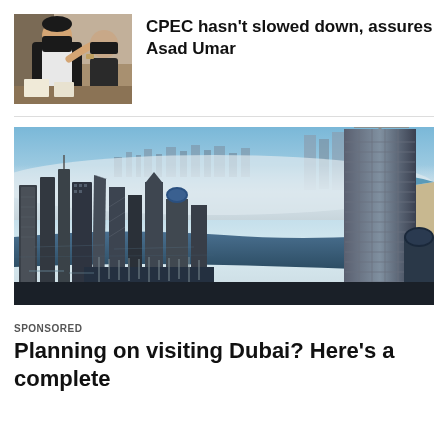[Figure (photo): Person wearing black mask and black vest speaking at a meeting, gesturing with hand]
CPEC hasn't slowed down, assures Asad Umar
[Figure (photo): Aerial view of Dubai skyline with skyscrapers emerging from low cloud cover, water visible, tall tower on the right]
SPONSORED
Planning on visiting Dubai? Here's a complete